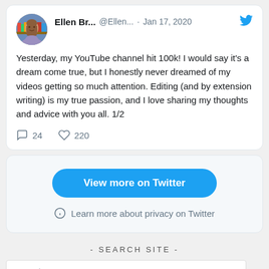[Figure (screenshot): Twitter/social media embedded tweet card showing user Ellen Br... @Ellen... on Jan 17, 2020 with tweet text and engagement metrics]
Yesterday, my YouTube channel hit 100k! I would say it's a dream come true, but I honestly never dreamed of my videos getting so much attention. Editing (and by extension writing) is my true passion, and I love sharing my thoughts and advice with you all. 1/2
24 comments  220 likes
View more on Twitter
Learn more about privacy on Twitter
- SEARCH SITE -
Search ...